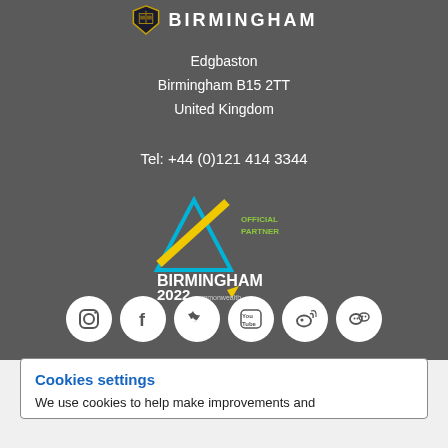[Figure (logo): University of Birmingham shield logo and name header]
Edgbaston
Birmingham B15 2TT
United Kingdom
Tel: +44 (0)121 414 3344
[Figure (logo): Birmingham 2022 Commonwealth Games Official Partner logo]
[Figure (logo): Social media icons: Instagram, Facebook, Twitter, YouTube, Weibo, WeChat]
Cookies settings
We use cookies to help make improvements and